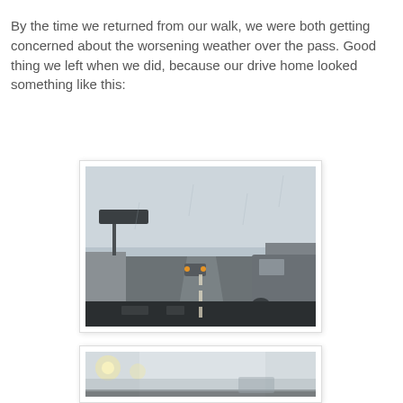By the time we returned from our walk, we were both getting concerned about the worsening weather over the pass. Good thing we left when we did, because our drive home looked something like this:
[Figure (photo): Dashboard view from inside a car driving on a highway in poor weather conditions. Gray overcast sky, wet road, cars ahead with headlights on, concrete barriers on both sides, and a truck/SUV to the right. A highway sign is visible on the left.]
[Figure (photo): Another dashboard view from inside a car in worsening weather conditions — very gray, washed-out sky, barely visible road, lights in the distance.]